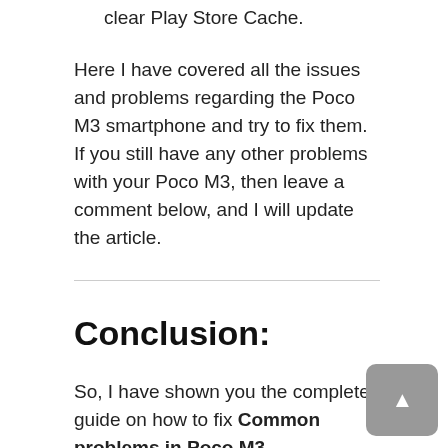clear Play Store Cache.
Here I have covered all the issues and problems regarding the Poco M3 smartphone and try to fix them. If you still have any other problems with your Poco M3, then leave a comment below, and I will update the article.
Conclusion:
So, I have shown you the complete guide on how to fix Common problems in Poco M3.
I hope you find this article useful and you are able to solve the problem on your Poco M3 device.